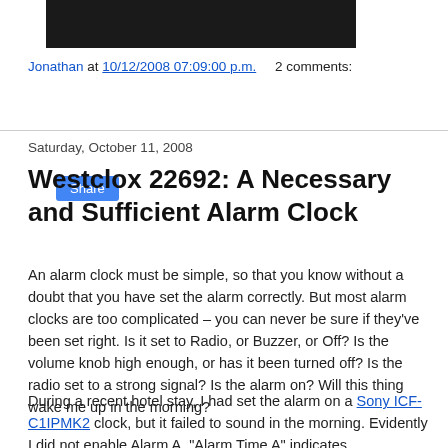[Figure (photo): Dark/black image at top of blog post, partial view of a photo]
Jonathan at 10/12/2008 07:09:00 p.m.    2 comments:
Share
Saturday, October 11, 2008
Westclox 22692: A Necessary and Sufficient Alarm Clock
An alarm clock must be simple, so that you know without a doubt that you have set the alarm correctly. But most alarm clocks are too complicated – you can never be sure if they've been set right. Is it set to Radio, or Buzzer, or Off? Is the volume knob high enough, or has it been turned off? Is the radio set to a strong signal? Is the alarm on? Will this thing wake me up in the morning?
During a recent hotel stay, I had set the alarm on a Sony ICF-C1IPMK2 clock, but it failed to sound in the morning. Evidently I did not enable Alarm A. "Alarm Time A" indicates